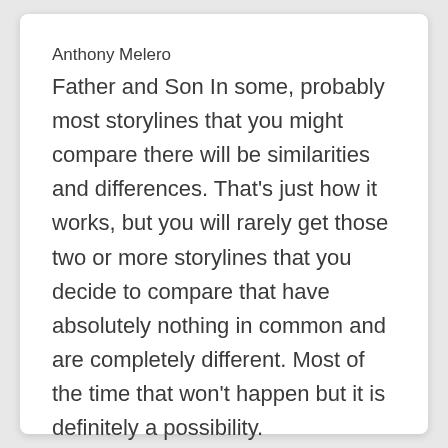Anthony Melero
Father and Son In some, probably most storylines that you might compare there will be similarities and differences. That’s just how it works, but you will rarely get those two or more storylines that you decide to compare that have absolutely nothing in common and are completely different. Most of the time that won’t happen but it is definitely a possibility.